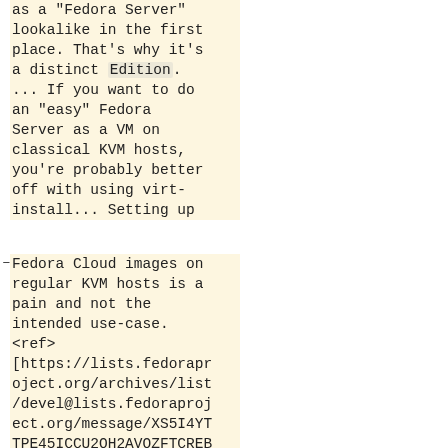as a "Fedora Server" lookalike in the first place. That's why it's a distinct Edition. ... If you want to do an "easy" Fedora Server as a VM on classical KVM hosts, you're probably better off with using virt-install... Setting up Fedora Cloud images on regular KVM hosts is a pain and not the intended use-case. <ref> [https://lists.fedoraproject.org/archives/list/devel@lists.fedoraproject.org/message/XS5I4YTTPE45ICCU2OH2AVOZFTCREBUT/], Neal Gompa on